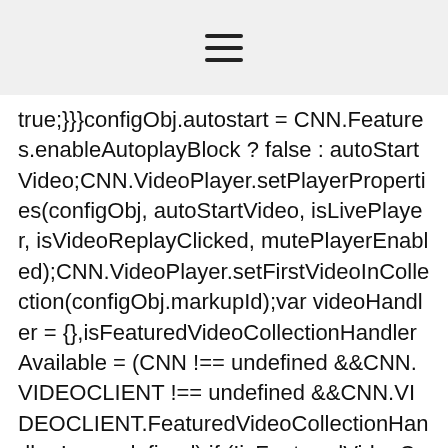☰
true;}}}configObj.autostart = CNN.Features.enableAutoplayBlock ? false : autoStartVideo;CNN.VideoPlayer.setPlayerProperties(configObj, autoStartVideo, isLivePlayer, isVideoReplayClicked, mutePlayerEnabled);CNN.VideoPlayer.setFirstVideoInCollection(configObj.markupId);var videoHandler = {},isFeaturedVideoCollectionHandlerAvailable = (CNN !== undefined &&CNN.VIDEOCLIENT !== undefined &&CNN.VIDEOCLIENT.FeaturedVideoCollectionHandler !== undefined);if (!isFeaturedVideoCollectionHandlerAvailable) {CNN.INJECTOR.executeFeature('videx').done(function () {jQuery.ajax({dataType: 'script',cache: true,url: '//www.i.cdn.cnn.com/.a/2.252.0/js/featured-video-